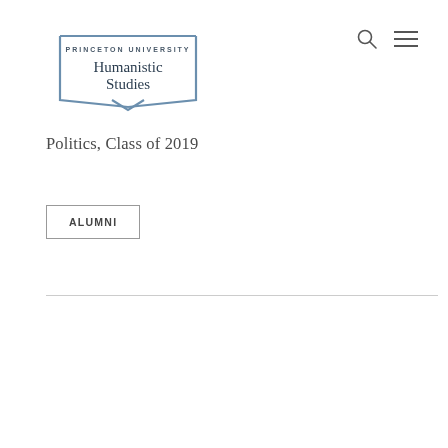[Figure (logo): Princeton University Humanistic Studies logo — open book illustration in blue/steel-blue with text 'PRINCETON UNIVERSITY' above and 'Humanistic Studies' in larger serif font]
Politics, Class of 2019
ALUMNI